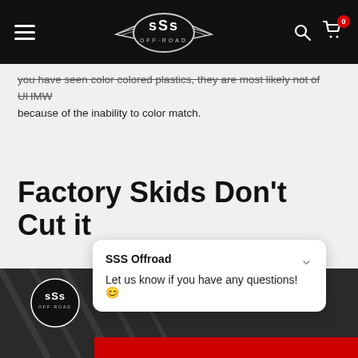SSS Off-Road navigation bar with hamburger menu, logo, search and cart icons
you have seen color colored plastics, they are most likely not of UHMW because of the inability to color match.
Factory Skids Don't Cut it
[Figure (screenshot): Bottom image strip showing off-road skid plate product, with SSS circular logo overlay and red bar at bottom]
[Figure (screenshot): SSS Offroad chat widget popup with message: Let us know if you have any questions! and smiley face emoji]